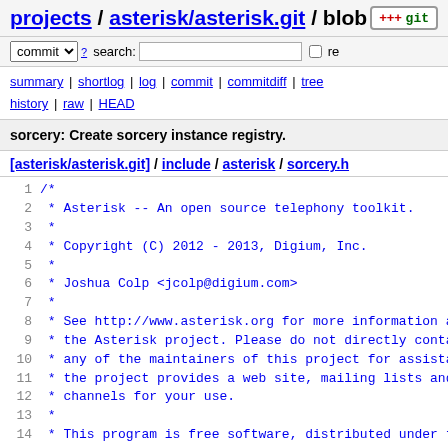projects / asterisk/asterisk.git / blob [git badge]
commit search: [text input] re
summary | shortlog | log | commit | commitdiff | tree history | raw | HEAD
sorcery: Create sorcery instance registry.
[asterisk/asterisk.git] / include / asterisk / sorcery.h
1  /*
2   * Asterisk -- An open source telephony toolkit.
3   *
4   * Copyright (C) 2012 - 2013, Digium, Inc.
5   *
6   * Joshua Colp <jcolp@digium.com>
7   *
8   * See http://www.asterisk.org for more information abo
9   * the Asterisk project. Please do not directly contact
10  * any of the maintainers of this project for assistanc
11  * the project provides a web site, mailing lists and l
12  * channels for your use.
13  *
14  * This program is free software, distributed under the
15  * the GNU General Public License Version 2. See the LI
16  * at the top of the source tree.
17  */
18
19 /*! \file